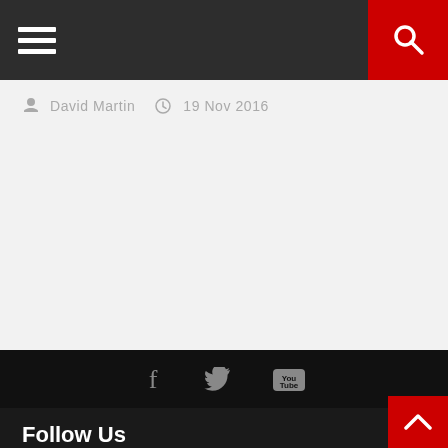Navigation bar with hamburger menu and search button
David Martin  19 Nov 2016
[Figure (infographic): Social icons strip with Facebook, Twitter, YouTube icons in gray on black background]
Follow Us
[Figure (infographic): Three social media icon buttons with borders: Facebook, Twitter, YouTube]
SUPPORT AOG
[Figure (infographic): Donate button (yellow/gold) and fingerprint overlay icon (teal circle)]